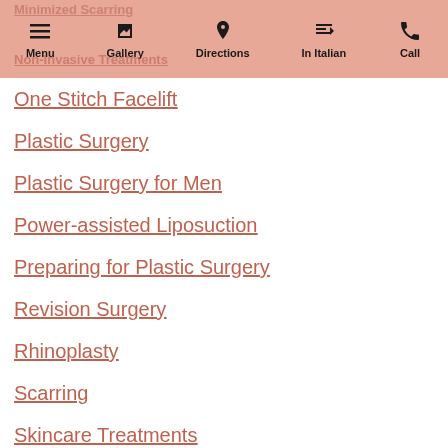Minimized Scarring | Non-Invasive Treatments
One Stitch Facelift
Plastic Surgery
Plastic Surgery for Men
Power-assisted Liposuction
Preparing for Plastic Surgery
Revision Surgery
Rhinoplasty
Scarring
Skincare Treatments
Smartlipo®
Stem Cell Facelift
Stem Cell Plastic Surgery
Suspenders Facelift